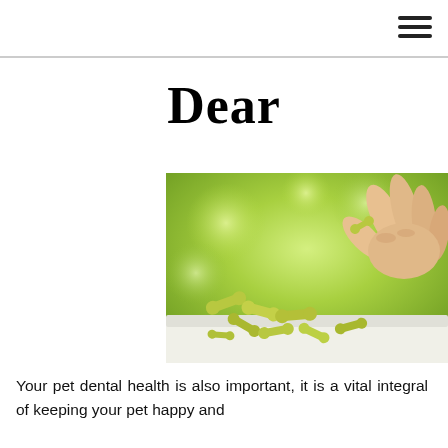Dear
[Figure (photo): A human hand holding a green dog bone-shaped dental treat above a pile of similar green dog treats on a white surface, with a blurred green natural background.]
Your pet dental health is also important, it is a vital integral of keeping your pet happy and